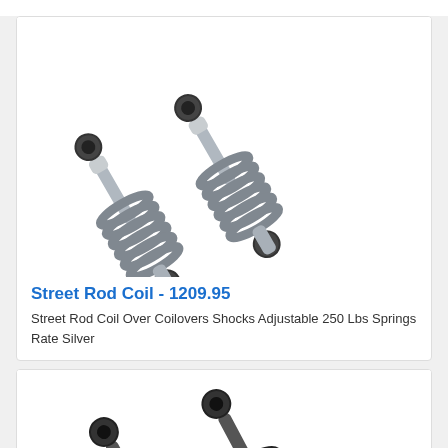[Figure (photo): Two silver coilover shock absorbers with silver/grey coil springs arranged diagonally on white background]
Street Rod Coil - 1209.95
Street Rod Coil Over Coilovers Shocks Adjustable 250 Lbs Springs Rate Silver
[Figure (photo): Two black coilover shock absorbers with black coil springs arranged diagonally on white background, partially visible]